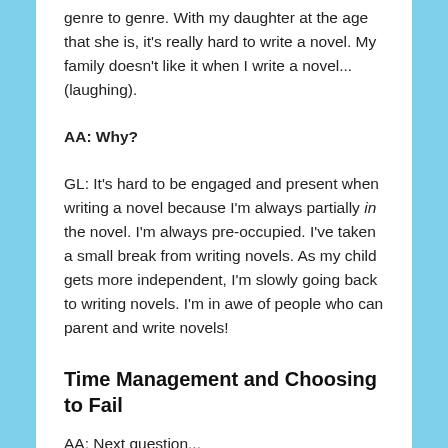genre to genre. With my daughter at the age that she is, it's really hard to write a novel. My family doesn't like it when I write a novel...(laughing).
AA: Why?
GL: It's hard to be engaged and present when writing a novel because I'm always partially in the novel. I'm always pre-occupied. I've taken a small break from writing novels. As my child gets more independent, I'm slowly going back to writing novels. I'm in awe of people who can parent and write novels!
Time Management and Choosing to Fail
AA: Next question...